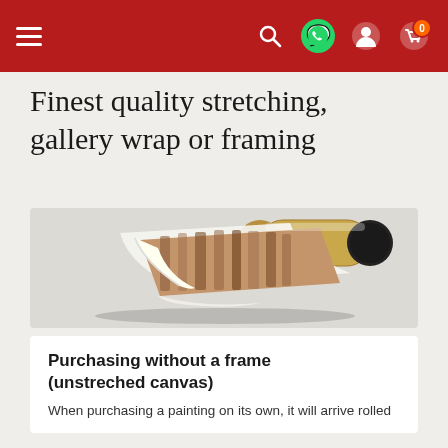Navigation bar with hamburger menu, search, WhatsApp, user, and cart icons
Finest quality stretching, gallery wrap or framing
[Figure (photo): A rolled canvas painting being unrolled from a cardboard mailing tube, showing a painting of figures on the canvas.]
Purchasing without a frame (unstreched canvas)
When purchasing a painting on its own, it will arrive rolled